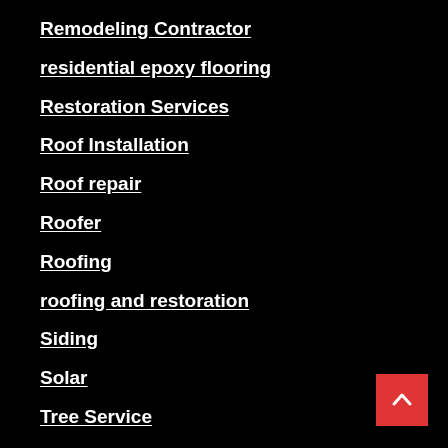Remodeling Contractor
residential epoxy flooring
Restoration Services
Roof Installation
Roof repair
Roofer
Roofing
roofing and restoration
Siding
Solar
Tree Service